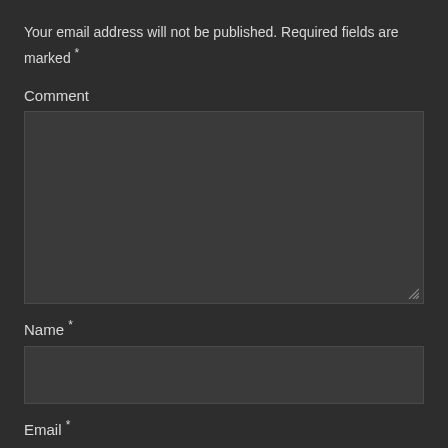Your email address will not be published. Required fields are marked *
Comment
[Figure (other): Empty comment textarea input box]
Name *
[Figure (other): Empty name text input box]
Email *